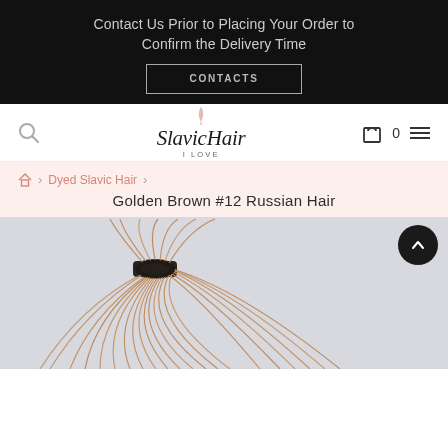Contact Us Prior to Placing Your Order to Confirm the Delivery Time
CONTACTS
[Figure (logo): SlavicHair I LOVE logo with decorative script font and leaf/feather motif above]
🏠 > Dyed Slavic Hair >
Golden Brown #12 Russian Hair
[Figure (photo): A bundle of golden brown human hair extensions tied with a black elastic band, fanned out against a light blue-grey background]